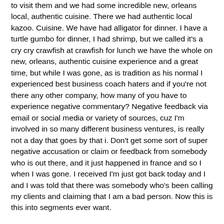to visit them and we had some incredible new, orleans local, authentic cuisine. There we had authentic local kazoo. Cuisine. We have had alligator for dinner. I have a turtle gumbo for dinner, I had shrimp, but we called it's a cry cry crawfish at crawfish for lunch we have the whole on new, orleans, authentic cuisine experience and a great time, but while I was gone, as is tradition as his normal I experienced best business coach haters and if you're not there any other company, how many of you have to experience negative commentary? Negative feedback via email or social media or variety of sources, cuz I'm involved in so many different business ventures, is really not a day that goes by that i. Don't get some sort of super negative accusation or claim or feedback from somebody who is out there, and it just happened in france and so I when I was gone. I received I'm just got back today and I and I was told that there was somebody who's been calling my clients and claiming that I am a bad person. Now this is this into segments ever want.
Anyone can claim anything think about that today. In today's society anybody can claim anything which is actually good if